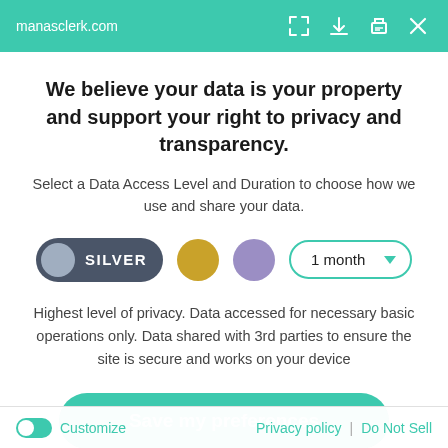manasclerk.com
We believe your data is your property and support your right to privacy and transparency.
Select a Data Access Level and Duration to choose how we use and share your data.
[Figure (infographic): Privacy level selector row with SILVER button (dark pill with grey circle), gold circle, purple circle, and a '1 month' dropdown selector with teal border]
Highest level of privacy. Data accessed for necessary basic operations only. Data shared with 3rd parties to ensure the site is secure and works on your device
Save my preferences
Customize | Privacy policy | Do Not Sell